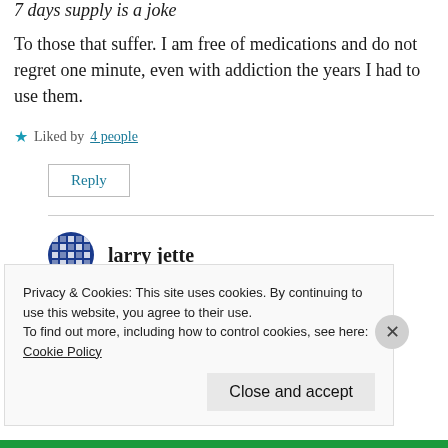7 days supply is a joke
To those that suffer. I am free of medications and do not regret one minute, even with addiction the years I had to use them.
Liked by 4 people
Reply
larry jette
Privacy & Cookies: This site uses cookies. By continuing to use this website, you agree to their use.
To find out more, including how to control cookies, see here:
Cookie Policy
Close and accept